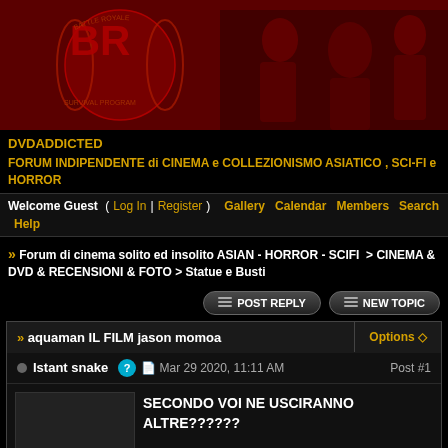[Figure (illustration): Red-tinted forum banner with 'BR' logo (Battle Royale themed), laurel wreath and silhouetted figures on dark red background]
DVDADDICTED
FORUM INDIPENDENTE di CINEMA e COLLEZIONISMO ASIATICO , SCI-FI e HORROR
Welcome Guest ( Log In | Register )  Gallery  Calendar  Members  Search  Help
>> Forum di cinema solito ed insolito ASIAN - HORROR - SCIFI > CINEMA & DVD & RECENSIONI & FOTO > Statue e Busti
POST REPLY  NEW TOPIC
» aquaman IL FILM jason momoa  Options ◇
Istant snake  Mar 29 2020, 11:11 AM  Post #1
SECONDO VOI NE USCIRANNO ALTRE??????